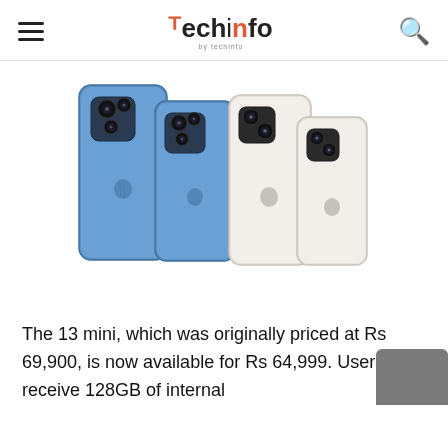Techinfo
[Figure (photo): Four iPhone 13 models shown from the back: two blue iPhone 13 Pro/Pro Max on the left, two white/starlight iPhone 13/13 mini on the right, arranged by size.]
The 13 mini, which was originally priced at Rs 69,900, is now available for Rs 64,999. Users receive 128GB of internal